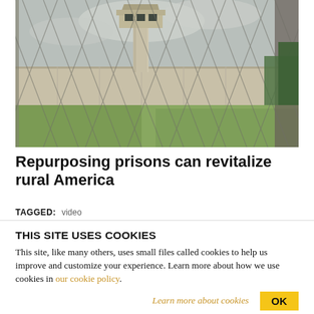[Figure (photo): Prison watchtower and long concrete wall seen through a chain-link fence, with green grass in the foreground and cloudy sky above.]
Repurposing prisons can revitalize rural America
TAGGED: video
THIS SITE USES COOKIES
This site, like many others, uses small files called cookies to help us improve and customize your experience. Learn more about how we use cookies in our cookie policy.
Learn more about cookies  OK